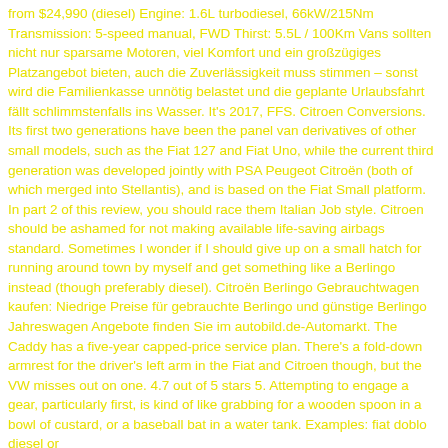from $24,990 (diesel) Engine: 1.6L turbodiesel, 66kW/215Nm Transmission: 5-speed manual, FWD Thirst: 5.5L / 100Km Vans sollten nicht nur sparsame Motoren, viel Komfort und ein großzügiges Platzangebot bieten, auch die Zuverlässigkeit muss stimmen – sonst wird die Familienkasse unnötig belastet und die geplante Urlaubsfahrt fällt schlimmstenfalls ins Wasser. It's 2017, FFS. Citroen Conversions. Its first two generations have been the panel van derivatives of other small models, such as the Fiat 127 and Fiat Uno, while the current third generation was developed jointly with PSA Peugeot Citroën (both of which merged into Stellantis), and is based on the Fiat Small platform. In part 2 of this review, you should race them Italian Job style. Citroen should be ashamed for not making available life-saving airbags standard. Sometimes I wonder if I should give up on a small hatch for running around town by myself and get something like a Berlingo instead (though preferably diesel). Citroën Berlingo Gebrauchtwagen kaufen: Niedrige Preise für gebrauchte Berlingo und günstige Berlingo Jahreswagen Angebote finden Sie im autobild.de-Automarkt. The Caddy has a five-year capped-price service plan. There's a fold-down armrest for the driver's left arm in the Fiat and Citroen though, but the VW misses out on one. 4.7 out of 5 stars 5. Attempting to engage a gear, particularly first, is kind of like grabbing for a wooden spoon in a bowl of custard, or a baseball bat in a water tank. Examples: fiat doblo diesel or